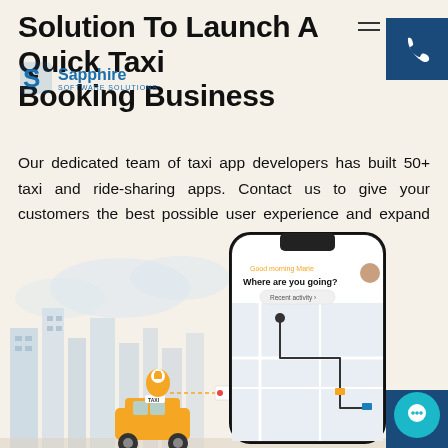Solution To Launch A Quick Taxi Booking Business
[Figure (logo): Sapphire Software Solutions logo with stylized S icon and text]
[Figure (other): Phone call button (dark navy blue square with white phone icon) in top right corner]
Our dedicated team of taxi app developers has built 50+ taxi and ride-sharing apps. Contact us to give your customers the best possible user experience and expand your revenue with our on-demand taxi app development services.
[Figure (other): Let's Talk CTA button in teal/blue]
[Figure (illustration): City skyline illustration with a smartphone showing a taxi booking app map interface, a taxi icon at the bottom, and a WhatsApp button and chat button on the right side]
[Figure (other): WhatsApp contact button on right side]
[Figure (other): Chat bubble button at bottom right]